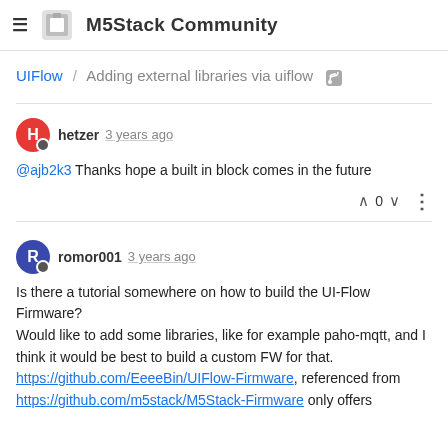M5Stack Community
UIFlow / Adding external libraries via uiflow
hetzer 3 years ago
@ajb2k3 Thanks hope a built in block comes in the future
romor001 3 years ago
Is there a tutorial somewhere on how to build the UI-Flow Firmware?
Would like to add some libraries, like for example paho-mqtt, and I think it would be best to build a custom FW for that.
https://github.com/EeeeBin/UIFlow-Firmware, referenced from https://github.com/m5stack/M5Stack-Firmware only offers